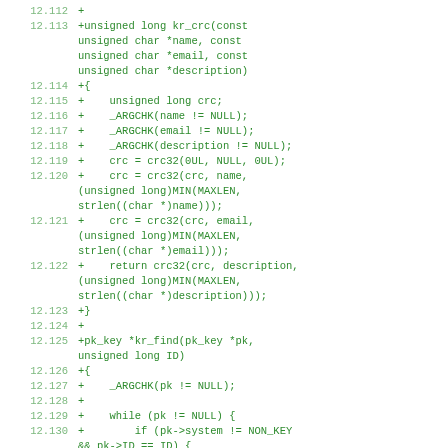Code diff showing lines 12.112 through 12.130 of a C source file, including functions kr_crc and kr_find with CRC32 computation logic.